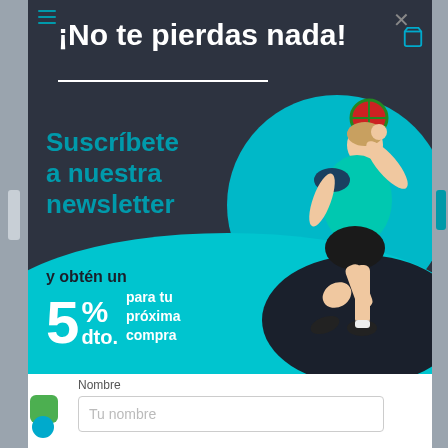¡No te pierdas nada!
[Figure (illustration): Newsletter subscription popup with a handball player jumping and throwing a ball, with teal circular background and dark background. Offer shows 5% dto. para tu próxima compra.]
Suscríbete a nuestra newsletter
y obtén un 5 % dto. para tu próxima compra
Nombre
Tu nombre